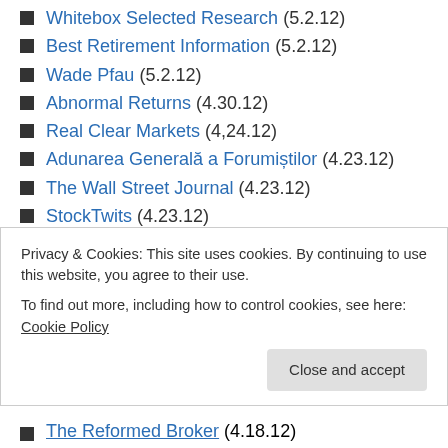Whitebox Selected Research (5.2.12)
Best Retirement Information (5.2.12)
Wade Pfau (5.2.12)
Abnormal Returns (4.30.12)
Real Clear Markets (4,24.12)
Adunarea Generală a Forumiștilor (4.23.12)
The Wall Street Journal (4.23.12)
StockTwits (4.23.12)
Don't dip your portfolio in the company's inkwell (4.19.12)
Privacy & Cookies: This site uses cookies. By continuing to use this website, you agree to their use.
To find out more, including how to control cookies, see here: Cookie Policy
The Reformed Broker (4.18.12)